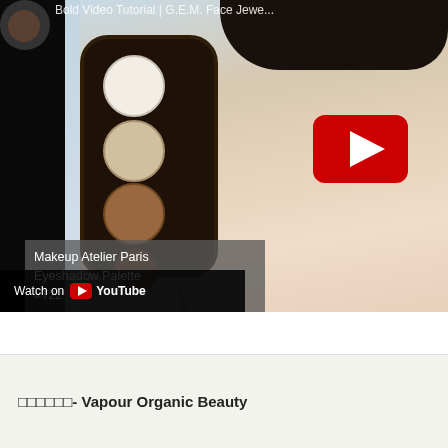[Figure (screenshot): YouTube video thumbnail showing a makeup tutorial. A woman holds a Makeup Atelier Paris Eyeshadow Palette #T22 with circular color pans. Text overlay reads 'Makeup Atelier Paris Eyeshadow Palette #T22'. A YouTube play button (red with white triangle) is visible. A 'Watch on YouTube' bar appears at the bottom left of the thumbnail.]
ορορορ- Vapour Organic Beauty